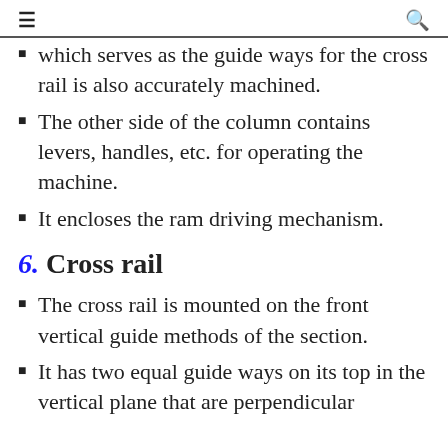≡  🔍
which serves as the guide ways for the cross rail is also accurately machined.
The other side of the column contains levers, handles, etc. for operating the machine.
It encloses the ram driving mechanism.
6. Cross rail
The cross rail is mounted on the front vertical guide methods of the section.
It has two equal guide ways on its top in the vertical plane that are perpendicular